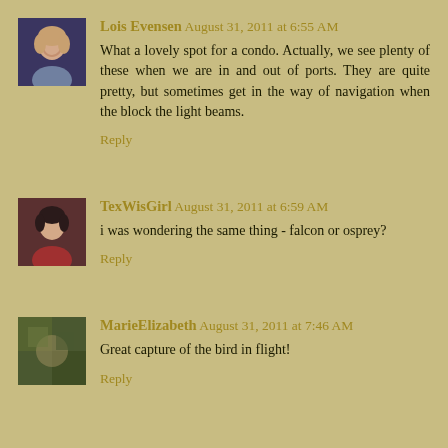[Figure (photo): Avatar photo of Lois Evensen, a woman with light curly hair]
Lois Evensen August 31, 2011 at 6:55 AM
What a lovely spot for a condo. Actually, we see plenty of these when we are in and out of ports. They are quite pretty, but sometimes get in the way of navigation when the block the light beams.
Reply
[Figure (photo): Avatar photo of TexWisGirl, a woman in a red top]
TexWisGirl August 31, 2011 at 6:59 AM
i was wondering the same thing - falcon or osprey?
Reply
[Figure (photo): Avatar photo of MarieElizabeth, nature/outdoor themed]
MarieElizabeth August 31, 2011 at 7:46 AM
Great capture of the bird in flight!
Reply